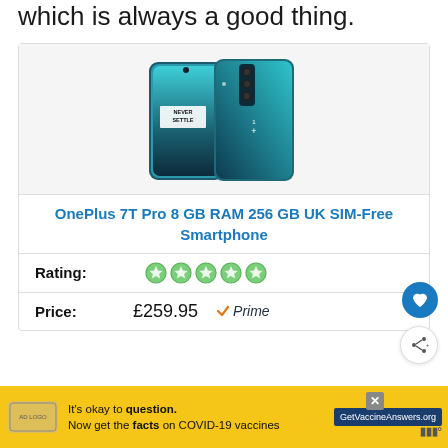which is always a good thing.
[Figure (photo): OnePlus 7T Pro smartphone shown from front and back, teal/blue color, with 'NEVER SETTLE' text on screen]
OnePlus 7T Pro 8 GB RAM 256 GB UK SIM-Free Smartphone
Rating: ☆☆☆☆☆
Price: £259.95 ✓Prime
[Figure (infographic): Yellow advertisement bar: It's okay to question. Now get the facts on COVID-19 vaccines. GetVaccineAnswers.org]